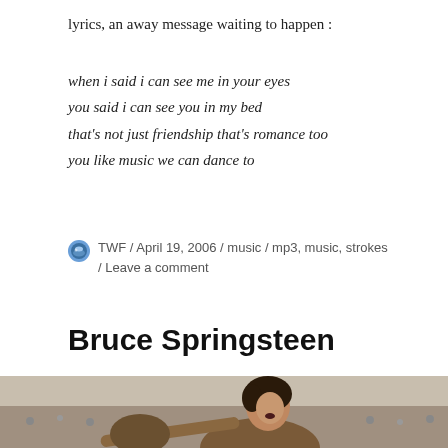lyrics, an away message waiting to happen :
when i said i can see me in your eyes
you said i can see you in my bed
that's not just friendship that's romance too
you like music we can dance to
TWF / April 19, 2006 / music / mp3, music, strokes / Leave a comment
Bruce Springsteen
[Figure (photo): Photo of Bruce Springsteen performing, shown from shoulders up, with dark curly hair, mouth open, appearing to sing or shout, cropped at bottom of page]